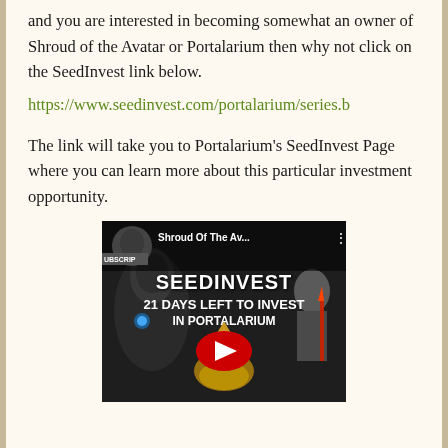and you are interested in becoming somewhat an owner of Shroud of the Avatar or Portalarium then why not click on the SeedInvest link below.
https://www.seedinvest.com/portalarium/series.b
The link will take you to Portalarium's SeedInvest Page where you can learn more about this particular investment opportunity.
[Figure (screenshot): YouTube video thumbnail showing 'Shroud Of The Av...' title with text 'SEEDINVEST 21 DAYS LEFT TO INVEST IN PORTALARIUM' overlaid on a dark fantasy game image with armored characters. A red YouTube play button is visible in the center.]